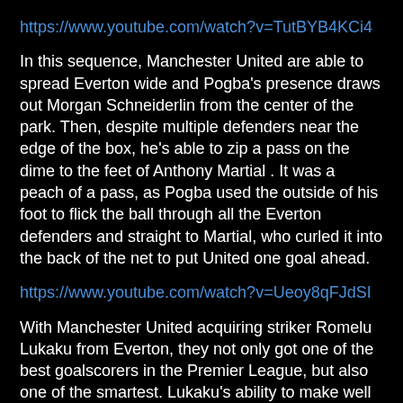https://www.youtube.com/watch?v=TutBYB4KCi4
In this sequence, Manchester United are able to spread Everton wide and Pogba's presence draws out Morgan Schneiderlin from the center of the park. Then, despite multiple defenders near the edge of the box, he's able to zip a pass on the dime to the feet of Anthony Martial . It was a peach of a pass, as Pogba used the outside of his foot to flick the ball through all the Everton defenders and straight to Martial, who curled it into the back of the net to put United one goal ahead.
https://www.youtube.com/watch?v=Ueoy8qFJdSI
With Manchester United acquiring striker Romelu Lukaku from Everton, they not only got one of the best goalscorers in the Premier League, but also one of the smartest. Lukaku's ability to make well timed runs to either drag defenders away from the play (see Belgium's goal against Japan) or to set up chances for himself is impeccable. In this play, he makes a run to the box which only Pogba sees. Then Pogba lofts a ball over the top with his non-dominant foot and it's still on point. The ball lands in front of Lukaku and he's able to poke it home past the keeper for an easy